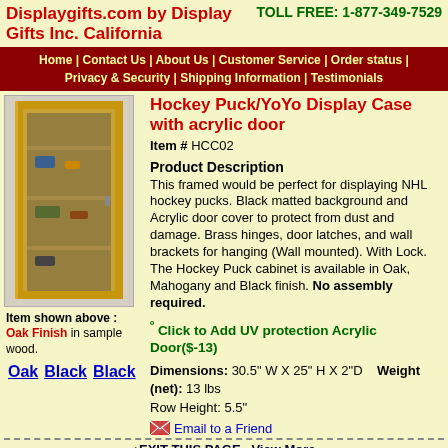Displaygifts.com by Display Gifts Inc. California | TOLL FREE: 1-877-349-7529
Home | Contact Us | About Us | Customer Service | Order status | Privacy & Security | Shipping Information | Testimonials
Hockey Puck/YoYo Display Case with acrylic door
Item # HCC02
Product Description
This framed would be perfect for displaying NHL hockey pucks. Black matted background and Acrylic door cover to protect from dust and damage. Brass hinges, door latches, and wall brackets for hanging (Wall mounted). With Lock. The Hockey Puck cabinet is available in Oak, Mahogany and Black finish. No assembly required.
º Click to Add UV protection Acrylic Door($-13)
Dimensions: 30.5" W X 25" H X 2"D Weight (net): 13 lbs Row Height: 5.5"
Email to a Friend
[Figure (photo): Photo of an Oak finish hockey puck display case with acrylic door, wall-mounted cabinet with wooden frame]
Item shown above : Oak Finish in sample wood. Oak Black Black
↑EXIT THIS PAGE · View More